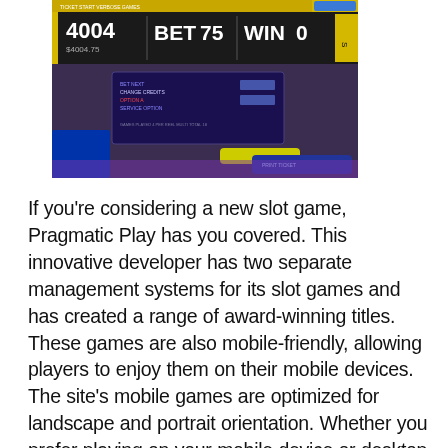[Figure (photo): A photograph of a slot machine screen showing BET 75, WIN 0, with balance 4004 / $4004.75 displayed. The machine has a yellow top banner and a dark lower panel with a ticket dispenser button.]
If you're considering a new slot game, Pragmatic Play has you covered. This innovative developer has two separate management systems for its slot games and has created a range of award-winning titles. These games are also mobile-friendly, allowing players to enjoy them on their mobile devices. The site's mobile games are optimized for landscape and portrait orientation. Whether you prefer playing on your mobile device or desktop,